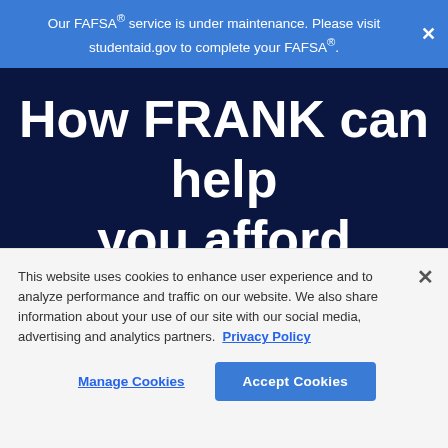Our FAFSA® service is under maintenance. Please visit studentaid.gov to complete your FAFSA®.
How FRANK can help you afford Seward County Community
This website uses cookies to enhance user experience and to analyze performance and traffic on our website. We also share information about your use of our site with our social media, advertising and analytics partners. Privacy Policy
Manage Cookies | Accept Cookies